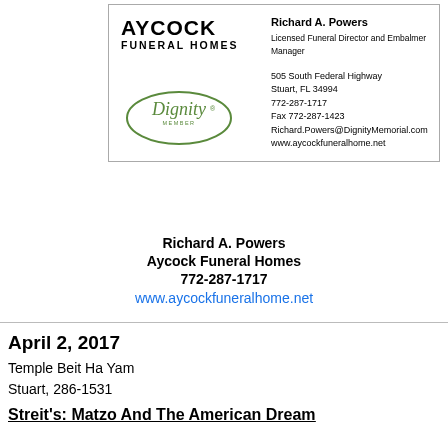[Figure (logo): Aycock Funeral Homes advertisement box with logo, Dignity oval logo, and contact information for Richard A. Powers, Licensed Funeral Director and Embalmer Manager. Address: 505 South Federal Highway, Stuart, FL 34994. Phone: 772-287-1717. Fax: 772-287-1423. Richard.Powers@DignityMemorial.com. www.aycockfuneralhome.net]
Richard A. Powers
Aycock Funeral Homes
772-287-1717
www.aycockfuneralhome.net
April 2, 2017
Temple Beit Ha Yam
Stuart, 286-1531
Streit's: Matzo And The American Dream